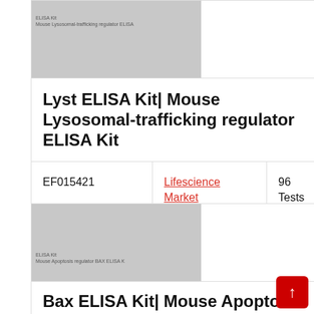[Figure (photo): Product image thumbnail for Lyst ELISA Kit showing gray placeholder with small text 'ELISA Kit' and 'Mouse Lysosomal-trafficking regulator ELISA']
Lyst ELISA Kit| Mouse Lysosomal-trafficking regulator ELISA Kit
| Catalog | Vendor | Quantity | Price |
| --- | --- | --- | --- |
| EF015421 | Lifescience Market | 96 Tests | EUR 689 |
[Figure (photo): Product image thumbnail for Bax ELISA Kit showing gray placeholder with small text 'ELISA Kit' and 'Mouse Apoptosis regulator BAX ELISA K']
Bax ELISA Kit| Mouse Apoptosis regulator BAX ELISA Kit